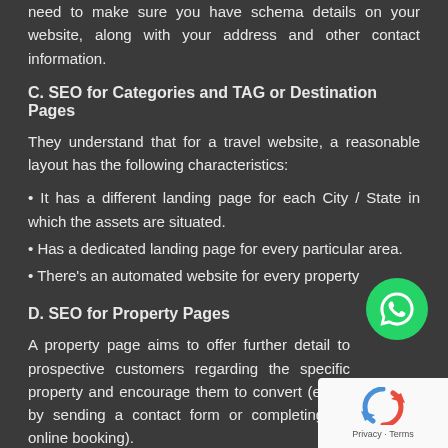need to make sure you have schema details on your website, along with your address and other contact information.
C. SEO for Categories and TAG or Destination Pages
They understand that for a travel website, a reasonable layout has the following characteristics:
• It has a different landing page for each City / State in which the assets are situated.
• Has a dedicated landing page for every particular area.
• There's an automated website for every property
D. SEO for Property Pages
A property page aims to offer further detail to prospective customers regarding the specific property and encourage them to convert (either by sending a contact form or completing an online booking).
Travel SEO agencies understand that a property page